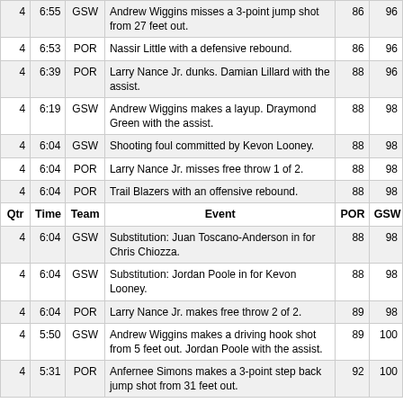| Qtr | Time | Team | Event | POR | GSW |
| --- | --- | --- | --- | --- | --- |
| 4 | 6:55 | GSW | Andrew Wiggins misses a 3-point jump shot from 27 feet out. | 86 | 96 |
| 4 | 6:53 | POR | Nassir Little with a defensive rebound. | 86 | 96 |
| 4 | 6:39 | POR | Larry Nance Jr. dunks. Damian Lillard with the assist. | 88 | 96 |
| 4 | 6:19 | GSW | Andrew Wiggins makes a layup. Draymond Green with the assist. | 88 | 98 |
| 4 | 6:04 | GSW | Shooting foul committed by Kevon Looney. | 88 | 98 |
| 4 | 6:04 | POR | Larry Nance Jr. misses free throw 1 of 2. | 88 | 98 |
| 4 | 6:04 | POR | Trail Blazers with an offensive rebound. | 88 | 98 |
| 4 | 6:04 | GSW | Substitution: Juan Toscano-Anderson in for Chris Chiozza. | 88 | 98 |
| 4 | 6:04 | GSW | Substitution: Jordan Poole in for Kevon Looney. | 88 | 98 |
| 4 | 6:04 | POR | Larry Nance Jr. makes free throw 2 of 2. | 89 | 98 |
| 4 | 5:50 | GSW | Andrew Wiggins makes a driving hook shot from 5 feet out. Jordan Poole with the assist. | 89 | 100 |
| 4 | 5:31 | POR | Anfernee Simons makes a 3-point step back jump shot from 31 feet out. | 92 | 100 |